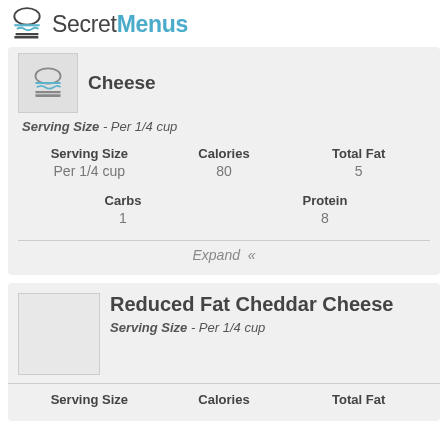SecretMenus
Cheese
Serving Size - Per 1/4 cup
| Serving Size | Calories | Total Fat |
| --- | --- | --- |
| Per 1/4 cup | 80 | 5 |
| Carbs | Protein |
| --- | --- |
| 1 | 8 |
Expand «
Reduced Fat Cheddar Cheese
Serving Size - Per 1/4 cup
| Serving Size | Calories | Total Fat |
| --- | --- | --- |